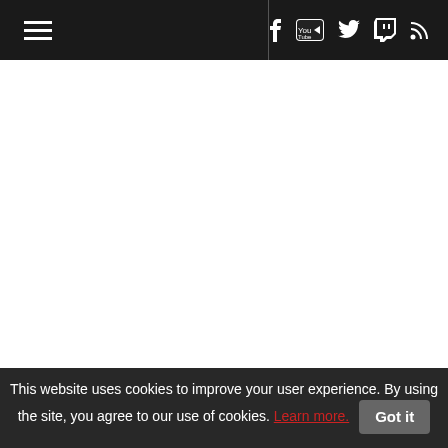Navigation bar with hamburger menu and social icons (Facebook, YouTube, Twitter, Twitch, RSS)
[Figure (other): Large white/blank content area below navigation, likely an image or video placeholder]
We know that this scene takes place after something happens to Dina and Ellie. Ellie appears to be the only survivor. Maybe T...
This website uses cookies to improve your user experience. By using the site, you agree to our use of cookies. Learn more.  Got it